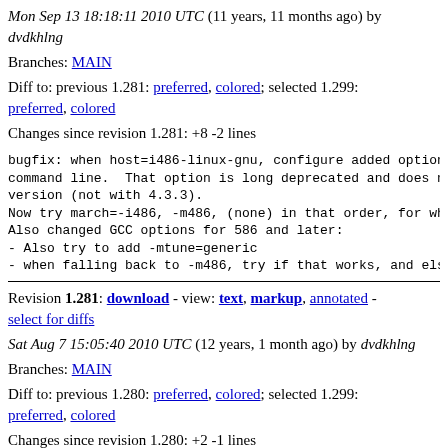Mon Sep 13 18:18:11 2010 UTC (11 years, 11 months ago) by dvdkhlng
Branches: MAIN
Diff to: previous 1.281: preferred, colored; selected 1.299: preferred, colored
Changes since revision 1.281: +8 -2 lines
bugfix: when host=i486-linux-gnu, configure added option command line.  That option is long deprecated and does no version (not with 4.3.3).
Now try march=-i486, -m486, (none) in that order, for wh:
Also changed GCC options for 586 and later:
- Also try to add -mtune=generic
- when falling back to -m486, try if that works, and els
Revision 1.281: download - view: text, markup, annotated - select for diffs
Sat Aug 7 15:05:40 2010 UTC (12 years, 1 month ago) by dvdkhlng
Branches: MAIN
Diff to: previous 1.280: preferred, colored; selected 1.299: preferred, colored
Changes since revision 1.280: +2 -1 lines
Make dynamic superinstructions work for MIPS by defining architecture-specific test macro CHECK_PRIM() that retur region might contain non-relocatable code.  On MIPS that